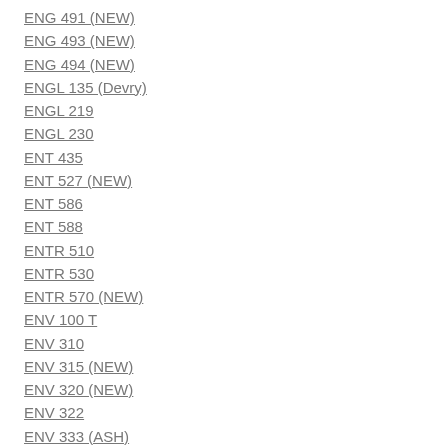ENG 491 (NEW)
ENG 493 (NEW)
ENG 494 (NEW)
ENGL 135 (Devry)
ENGL 219
ENGL 230
ENT 435
ENT 527 (NEW)
ENT 586
ENT 588
ENTR 510
ENTR 530
ENTR 570 (NEW)
ENV 100 T
ENV 310
ENV 315 (NEW)
ENV 320 (NEW)
ENV 322
ENV 333 (ASH)